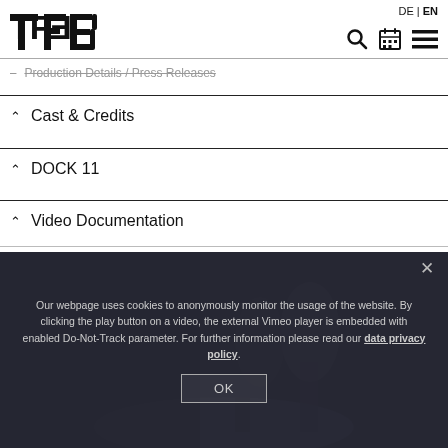TFB | DE | EN
Production Details / Press Releases
Cast & Credits
DOCK 11
Video Documentation
[Figure (photo): Two dancers on stage in dark setting, partially visible behind cookie consent overlay]
Our webpage uses cookies to anonymously monitor the usage of the website. By clicking the play button on a video, the external Vimeo player is embedded with enabled Do-Not-Track parameter. For further information please read our data privacy policy.